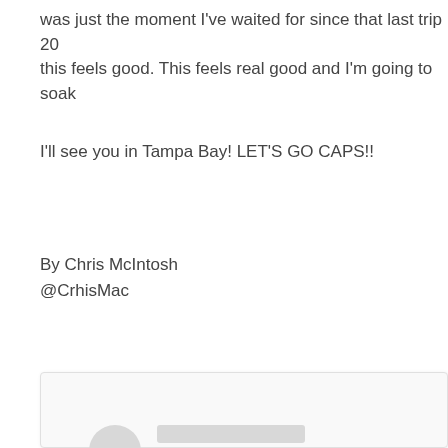was just the moment I've waited for since that last trip 20 this feels good. This feels real good and I'm going to soak
I'll see you in Tampa Bay! LET'S GO CAPS!!
By Chris McIntosh
@CrhisMac
[Figure (screenshot): A blurred/redacted social media card with a circular avatar placeholder and two gray placeholder lines for username and handle.]